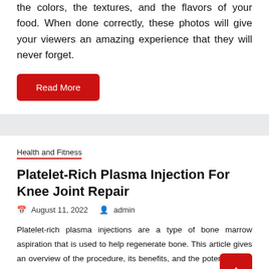the colors, the textures, and the flavors of your food. When done correctly, these photos will give your viewers an amazing experience that they will never forget.
Read More
Health and Fitness
Platelet-Rich Plasma Injection For Knee Joint Repair
August 11, 2022   admin
Platelet-rich plasma injections are a type of bone marrow aspiration that is used to help regenerate bone. This article gives an overview of the procedure, its benefits, and the potential risks associated with it.
What is Platelet Rich Plasma?